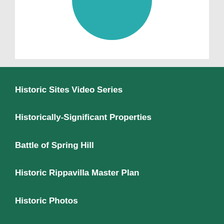[Figure (illustration): Teal semicircle/circle partially visible at top of a white box against a light gray background]
Historic Sites Video Series
Historically-Significant Properties
Battle of Spring Hill
Historic Rippavilla Master Plan
Historic Photos